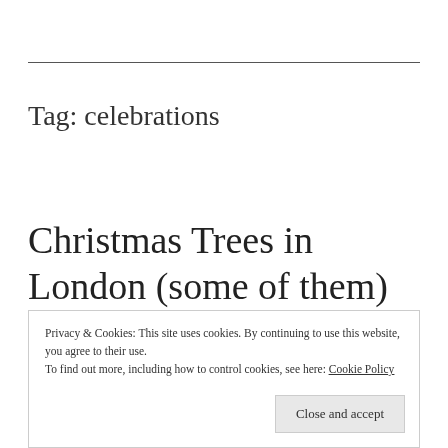Tag: celebrations
Christmas Trees in London (some of them)
Privacy & Cookies: This site uses cookies. By continuing to use this website, you agree to their use.
To find out more, including how to control cookies, see here: Cookie Policy
Close and accept